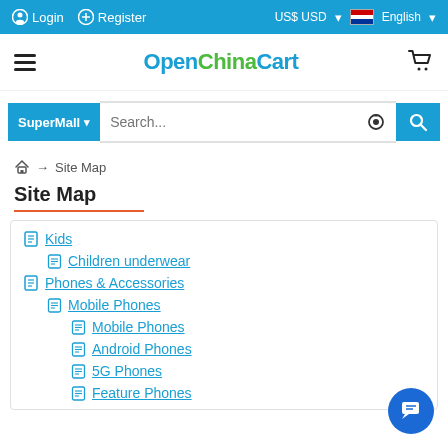Login | Register | US$ USD | English
OpenChinaCart
SuperMall | Search...
Home → Site Map
Site Map
Kids
Children underwear
Phones & Accessories
Mobile Phones
Mobile Phones
Android Phones
5G Phones
Feature Phones